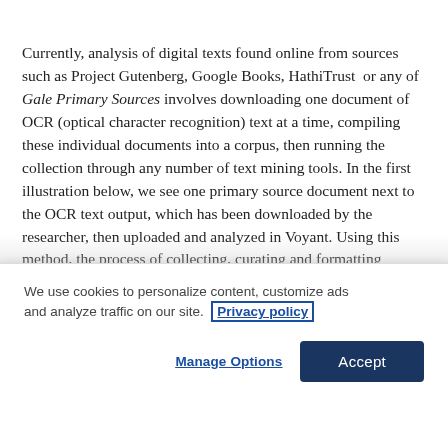Currently, analysis of digital texts found online from sources such as Project Gutenberg, Google Books, HathiTrust or any of Gale Primary Sources involves downloading one document of OCR (optical character recognition) text at a time, compiling these individual documents into a corpus, then running the collection through any number of text mining tools. In the first illustration below, we see one primary source document next to the OCR text output, which has been downloaded by the researcher, then uploaded and analyzed in Voyant. Using this method, the process of collecting, curating and formatting multiple
We use cookies to personalize content, customize ads and analyze traffic on our site. Privacy policy